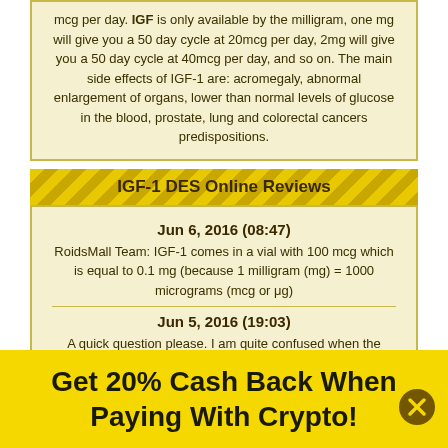mcg per day. IGF is only available by the milligram, one mg will give you a 50 day cycle at 20mcg per day, 2mg will give you a 50 day cycle at 40mcg per day, and so on. The main side effects of IGF-1 are: acromegaly, abnormal enlargement of organs, lower than normal levels of glucose in the blood, prostate, lung and colorectal cancers predispositions.
IGF-1 DES Online Reviews
Jun 6, 2016 (08:47)
RoidsMall Team: IGF-1 comes in a vial with 100 mcg which is equal to 0.1 mg (because 1 milligram (mg) = 1000 micrograms (mcg or μg)
Jun 5, 2016 (19:03)
A quick question please. I am quite confused when the write up states that IGF-1 is only available by the milligram but the product is promoted as a 100mcg vial. Can you please help me out here? And on a side note, if Roidsmall would put up a document or link that explained the differences and linkages between the various measuring types, I am older and don't quite get the nuances of
Get 20% Cash Back When Paying With Crypto!